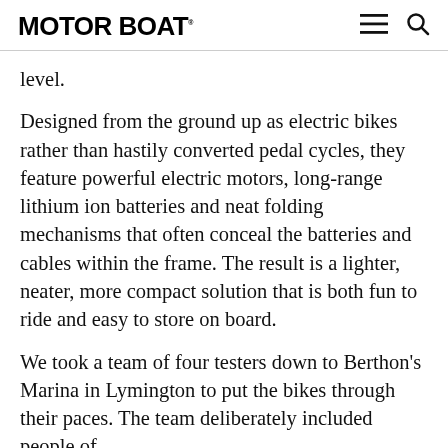MOTOR BOAT
level.
Designed from the ground up as electric bikes rather than hastily converted pedal cycles, they feature powerful electric motors, long-range lithium ion batteries and neat folding mechanisms that often conceal the batteries and cables within the frame. The result is a lighter, neater, more compact solution that is both fun to ride and easy to store on board.
We took a team of four testers down to Berthon's Marina in Lymington to put the bikes through their paces. The team deliberately included people of